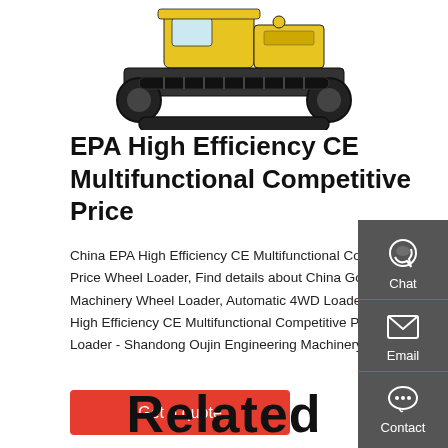[Figure (photo): Yellow and black tracked excavator/wheel loader machine on white background, bottom portion visible showing tracks and lower body]
EPA High Efficiency CE Multifunctional Competitive Price
China EPA High Efficiency CE Multifunctional Competitive Price Wheel Loader, Find details about China Good Machinery Wheel Loader, Automatic 4WD Loader from EPA High Efficiency CE Multifunctional Competitive Price Wheel Loader - Shandong Oujin Engineering Machinery Co., Ltd.
[Figure (infographic): Dark grey sidebar with Chat (headset icon), Email (envelope icon), and Contact (speech bubble icon) buttons with red dividers]
Get a quote
Related